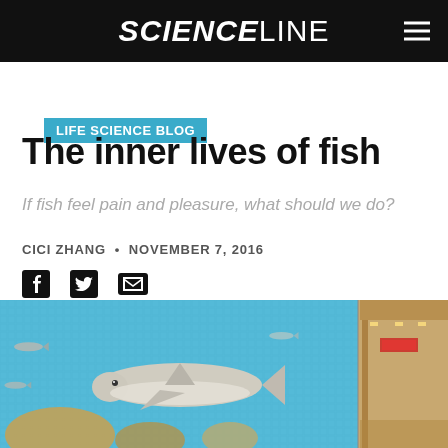SCIENCELINE
LIFE SCIENCE BLOG
The inner lives of fish
If fish feel pain and pleasure, what should we do?
CICI ZHANG • NOVEMBER 7, 2016
[Figure (photo): Mosaic artwork of sharks on an aquarium wall, with a subway station visible on the right side.]